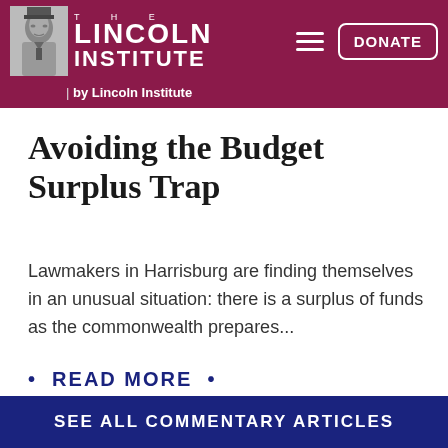THE LINCOLN INSTITUTE | by Lincoln Institute
Avoiding the Budget Surplus Trap
Lawmakers in Harrisburg are finding themselves in an unusual situation: there is a surplus of funds as the commonwealth prepares...
• READ MORE •
SEE ALL COMMENTARY ARTICLES